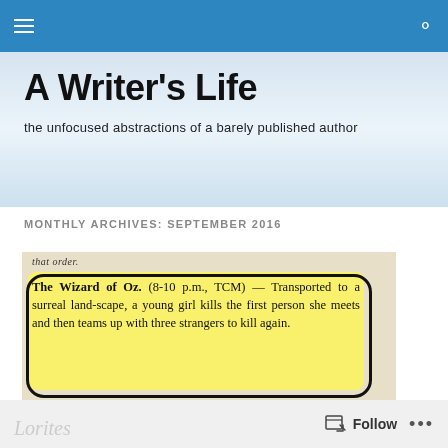A Writer's Life — navigation bar with hamburger menu and search icon
A Writer's Life
the unfocused abstractions of a barely published author
MONTHLY ARCHIVES: SEPTEMBER 2016
[Figure (photo): Newspaper clipping highlighted in yellow with a black oval drawn around it. Text reads: 'that order. The Wizard of Oz. (8-10 p.m., TCM) — Transported to a surreal landscape, a young girl kills the first person she meets and then teams up with three strangers to kill again.' Attribution: Inquirer Television Writer Lee Winfrey]
Follow •••